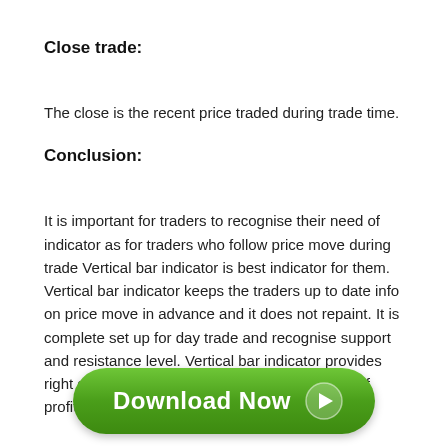Close trade:
The close is the recent price traded during trade time.
Conclusion:
It is important for traders to recognise their need of indicator as for traders who follow price move during trade Vertical bar indicator is best indicator for them. Vertical bar indicator keeps the traders up to date info on price move in advance and it does not repaint. It is complete set up for day trade and recognise support and resistance level. Vertical bar indicator provides right direction of price and give high probability of profit.
[Figure (other): Green Download Now button with play arrow icon]